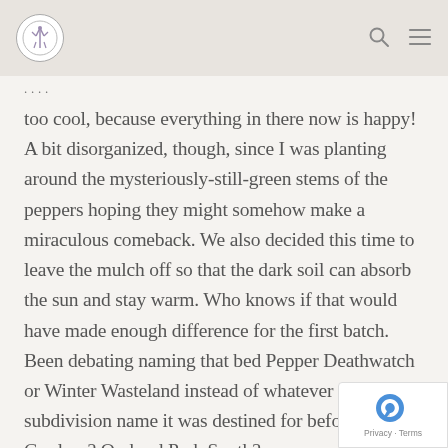[logo] [search icon] [menu icon]
too cool, because everything in there now is happy! A bit disorganized, though, since I was planting around the mysteriously-still-green stems of the peppers hoping they might somehow make a miraculous comeback. We also decided this time to leave the mulch off so that the dark soil can absorb the sun and stay warm. Who knows if that would have made enough difference for the first batch. Been debating naming that bed Pepper Deathwatch or Winter Wasteland instead of whatever crappy subdivision name it was destined for before. Sunset Gardens? Orchard Park South?